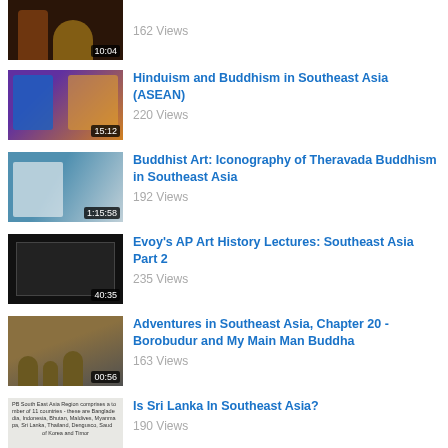162 Views — 10:04
Hinduism and Buddhism in Southeast Asia (ASEAN) — 15:12 — 220 Views
Buddhist Art: Iconography of Theravada Buddhism in Southeast Asia — 1:15:58 — 192 Views
Evoy's AP Art History Lectures: Southeast Asia Part 2 — 40:35 — 235 Views
Adventures in Southeast Asia, Chapter 20 - Borobudur and My Main Man Buddha — 00:56 — 163 Views
Is Sri Lanka In Southeast Asia? — 00:46 — 190 Views
The influence of Hinduism and Buddhism on Religious Architecture in Southeast